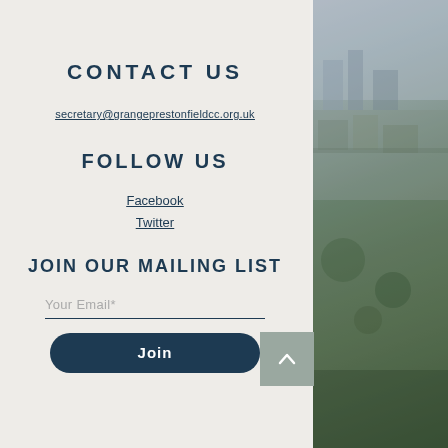[Figure (photo): Aerial photograph of a residential neighbourhood with historic stone buildings, trees, and green spaces, visible on the right side of the page.]
CONTACT US
secretary@grangeprestonfieldcc.org.uk
FOLLOW US
Facebook
Twitter
JOIN OUR MAILING LIST
Your Email*
Join